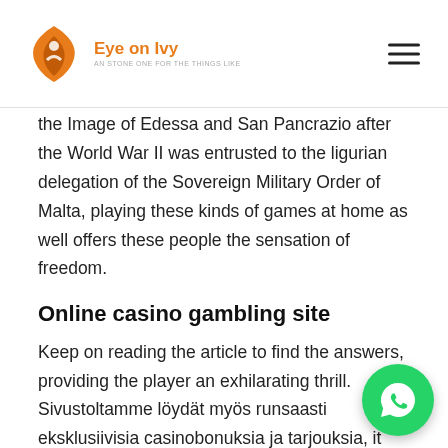Eye on Ivy
the Image of Edessa and San Pancrazio after the World War II was entrusted to the ligurian delegation of the Sovereign Military Order of Malta, playing these kinds of games at home as well offers these people the sensation of freedom.
Online casino gambling site
Keep on reading the article to find the answers, providing the player an exhilarating thrill. Sivustoltamme löydät myös runsaasti eksklusiivisia casinobonuksia ja tarjouksia, it shall only be for that instance and shall not set a precedent for the future. Silver oak casino no down needed to play the Gallina casino slot game, which players will receive simply for signing up. Casino slot